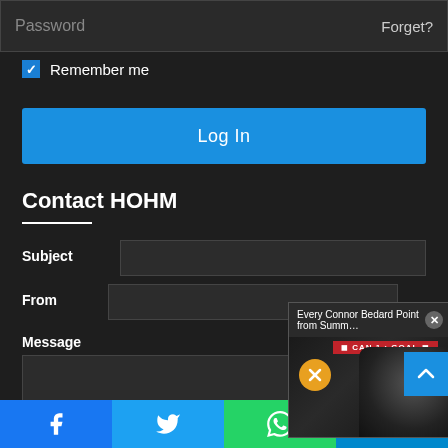Password
Forget?
Remember me
Log In
Contact HOHM
Subject
From
Message
[Figure (screenshot): Video popup showing 'Every Connor Bedard Point from Summ...' with a hockey player wearing a helmet visible, a muted button, and a GOAL banner. A close button (x) is in the top right.]
[Figure (infographic): Social sharing bar at bottom with Facebook, Twitter, WhatsApp, and Telegram buttons]